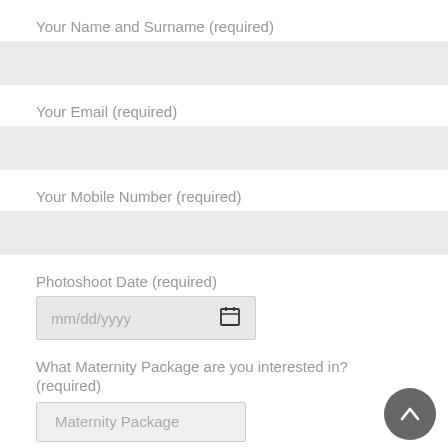Your Name and Surname (required)
[Figure (other): Empty text input field for name]
Your Email (required)
[Figure (other): Empty text input field for email]
Your Mobile Number (required)
[Figure (other): Empty text input field for mobile number]
Photoshoot Date (required)
[Figure (other): Date picker input showing mm/dd/yyyy placeholder with calendar icon]
What Maternity Package are you interested in? (required)
[Figure (other): Dropdown select box showing Maternity Package option]
[Figure (other): Scroll-to-top button (dark circle with upward arrow)]